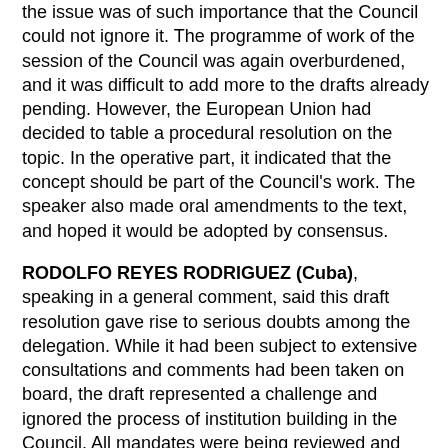the issue was of such importance that the Council could not ignore it. The programme of work of the session of the Council was again overburdened, and it was difficult to add more to the drafts already pending. However, the European Union had decided to table a procedural resolution on the topic. In the operative part, it indicated that the concept should be part of the Council's work. The speaker also made oral amendments to the text, and hoped it would be adopted by consensus.
RODOLFO REYES RODRIGUEZ (Cuba), speaking in a general comment, said this draft resolution gave rise to serious doubts among the delegation. While it had been subject to extensive consultations and comments had been taken on board, the draft represented a challenge and ignored the process of institution building in the Council. All mandates were being reviewed and nobody could say whether this mandate or some of its functions would continue. Already the European Union was saying the Rapporteur would submit a report to the sixth session. This was related to mandate review issues. In terms of programme, it had not been decided how the functioning of